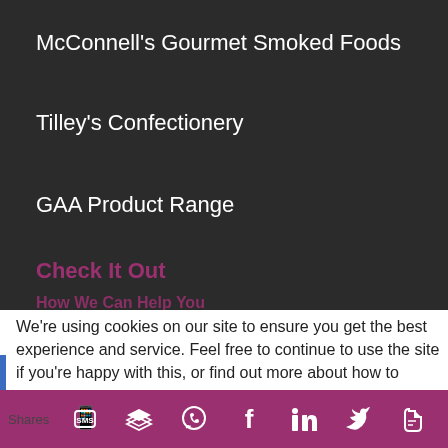McConnell's Gourmet Smoked Foods
Tilley's Confectionery
GAA Product Range
Check It Out
We're using cookies on our site to ensure you get the best experience and service. Feel free to continue to use the site if you're happy with this, or find out more about how to manage
Shares